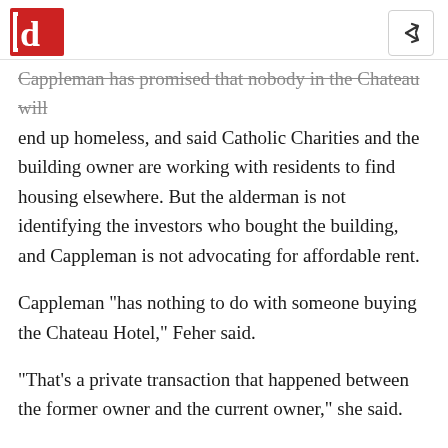[d] logo and share icon
Cappleman has promised that nobody in the Chateau will end up homeless, and said Catholic Charities and the building owner are working with residents to find housing elsewhere. But the alderman is not identifying the investors who bought the building, and Cappleman is not advocating for affordable rent.
Cappleman "has nothing to do with someone buying the Chateau Hotel," Feher said.
"That's a private transaction that happened between the former owner and the current owner," she said.
LAC President Erin Ryan said her organization's relationship with Cappleman is "strained."